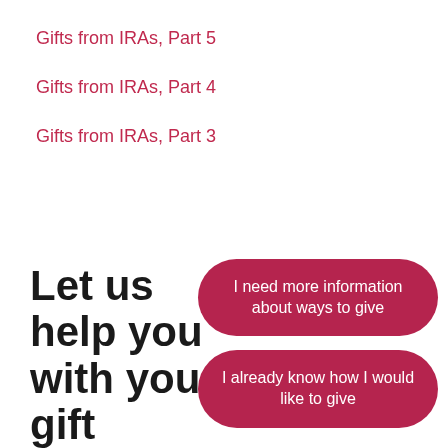Gifts from IRAs, Part 5
Gifts from IRAs, Part 4
Gifts from IRAs, Part 3
Let us help you with your gift
I need more information about ways to give
I already know how I would like to give